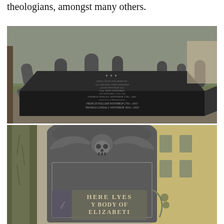theologians, amongst many others.
[Figure (photo): A graveyard scene showing multiple old gravestones on grass, with a large dark flat tomb slab in the foreground inscribed with the Winthrop family names including Thomas Lindall Winthrop, Francis William Winthrop, and others.]
[Figure (photo): Close-up of an old gravestone with a winged skull motif at the top, and inscribed text reading 'HERE LYES Y BODY OF ELIZABETI' (Elizabeth).]